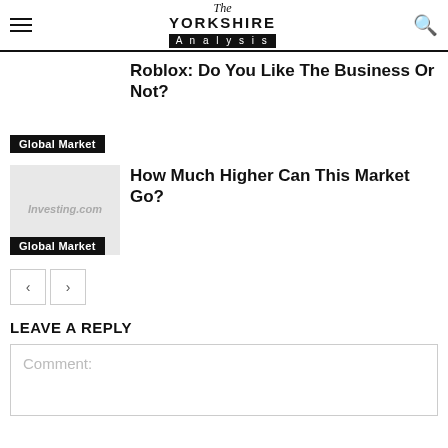The Yorkshire Analysis
Roblox: Do You Like The Business Or Not?
Global Market
How Much Higher Can This Market Go?
Global Market
LEAVE A REPLY
Comment: